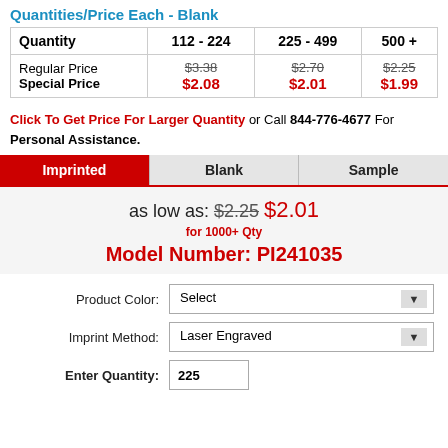Quantities/Price Each - Blank
| Quantity | 112 - 224 | 225 - 499 | 500 + |
| --- | --- | --- | --- |
| Regular Price | $3.38 | $2.70 | $2.25 |
| Special Price | $2.08 | $2.01 | $1.99 |
Click To Get Price For Larger Quantity or Call 844-776-4677 For Personal Assistance.
Imprinted | Blank | Sample
as low as: $2.25 $2.01 for 1000+ Qty
Model Number: PI241035
Product Color: Select
Imprint Method: Laser Engraved
Enter Quantity: 225